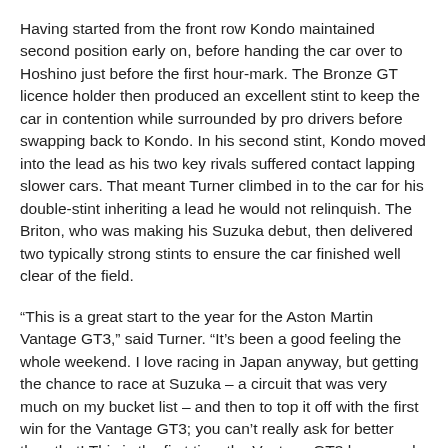Having started from the front row Kondo maintained second position early on, before handing the car over to Hoshino just before the first hour-mark. The Bronze GT licence holder then produced an excellent stint to keep the car in contention while surrounded by pro drivers before swapping back to Kondo. In his second stint, Kondo moved into the lead as his two key rivals suffered contact lapping slower cars. That meant Turner climbed in to the car for his double-stint inheriting a lead he would not relinquish. The Briton, who was making his Suzuka debut, then delivered two typically strong stints to ensure the car finished well clear of the field.
“This is a great start to the year for the Aston Martin Vantage GT3,” said Turner. “It’s been a good feeling the whole weekend. I love racing in Japan anyway, but getting the chance to race at Suzuka – a circuit that was very much on my bucket list – and then to top it off with the first win for the Vantage GT3; you can’t really ask for better than that! This is the first time the Vantage GT3 has raced in 2019 but with all the other championships about to kick-off around the world, hopefully this will start some momentum that can continue